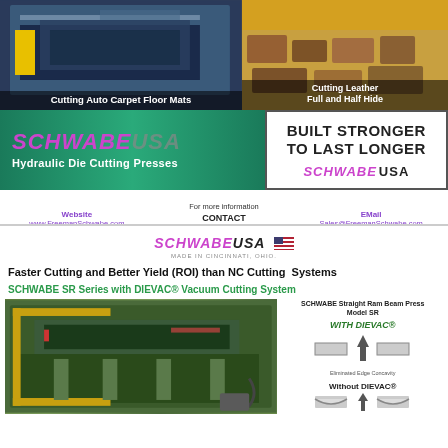[Figure (photo): Industrial machine cutting auto carpet floor mats - large press equipment in factory setting]
Cutting Auto Carpet Floor Mats
[Figure (photo): Cutting leather full and half hide - colorful leather pieces on cutting table]
Cutting Leather Full and Half Hide
[Figure (logo): Schwabe USA logo with tagline - Hydraulic Die Cutting Presses on green gradient background]
Hydraulic Die Cutting Presses
[Figure (logo): BUILT STRONGER TO LAST LONGER - SCHWABE USA logo in white box]
BUILT STRONGER TO LAST LONGER
Website
www.FreemanSchwabe.com
For more information
CONTACT
FREEMAN SCHWABE
+1 513 947 2888
EMail
Sales@FreemanSchwabe.com
[Figure (logo): SCHWABE USA logo with American flag, Made in Cincinnati Ohio]
Faster Cutting and Better Yield (ROI) than NC Cutting Systems
SCHWABE SR Series with DIEVAC® Vacuum Cutting System
[Figure (photo): SCHWABE Straight Ram Beam Press machine - large green industrial cutting press]
SCHWABE Straight Ram Beam Press
Model SR
WITH DIEVAC®
Eliminated Edge Concavity
Without DIEVAC®